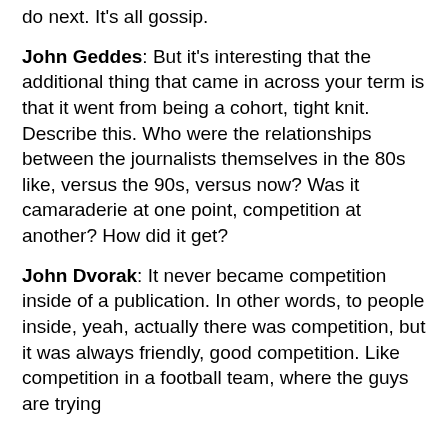do next. It's all gossip.
John Geddes: But it's interesting that the additional thing that came in across your term is that it went from being a cohort, tight knit. Describe this. Who were the relationships between the journalists themselves in the 80s like, versus the 90s, versus now? Was it camaraderie at one point, competition at another? How did it get?
John Dvorak: It never became competition inside of a publication. In other words, to people inside, yeah, actually there was competition, but it was always friendly, good competition. Like competition in a football team, where the guys are trying